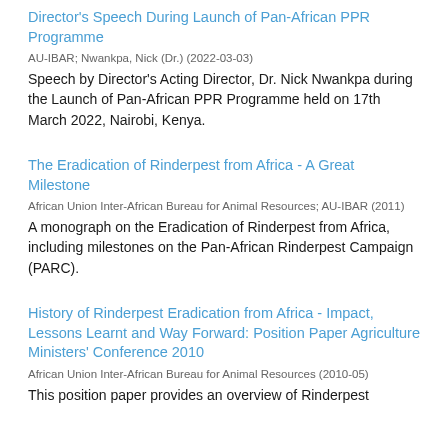Director's Speech During Launch of Pan-African PPR Programme
AU-IBAR; Nwankpa, Nick (Dr.) (2022-03-03)
Speech by Director's Acting Director, Dr. Nick Nwankpa during the Launch of Pan-African PPR Programme held on 17th March 2022, Nairobi, Kenya.
The Eradication of Rinderpest from Africa - A Great Milestone
African Union Inter-African Bureau for Animal Resources; AU-IBAR (2011)
A monograph on the Eradication of Rinderpest from Africa, including milestones on the Pan-African Rinderpest Campaign (PARC).
History of Rinderpest Eradication from Africa - Impact, Lessons Learnt and Way Forward: Position Paper Agriculture Ministers' Conference 2010
African Union Inter-African Bureau for Animal Resources (2010-05)
This position paper provides an overview of Rinderpest